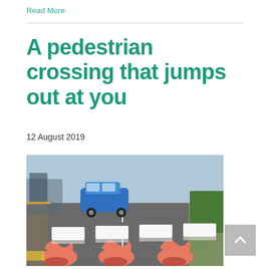Read More
A pedestrian crossing that jumps out at you
12 August 2019
[Figure (photo): A 3D optical illusion pedestrian crossing with cartoon kangaroo legs painted on the road surface, with a blue car and New Zealand street scene in the background.]